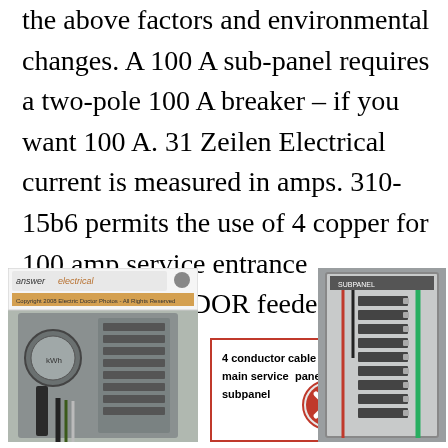the above factors and environmental changes. A 100 A sub-panel requires a two-pole 100 A breaker – if you want 100 A. 31 Zeilen Electrical current is measured in amps. 310-15b6 permits the use of 4 copper for 100 amp service entrance conductors ANDOR feeders.
[Figure (photo): Photo of an electrical service entrance panel with meter and conduit connections, branded 'answer electrical' with copyright notice.]
[Figure (schematic): Diagram label with red border showing '4 conductor cable from main service panel to subpanel' with a red X mark indicating incorrect/prohibited connection.]
[Figure (photo): Photo of an electrical subpanel interior showing circuit breakers, wiring with red and green conductors.]